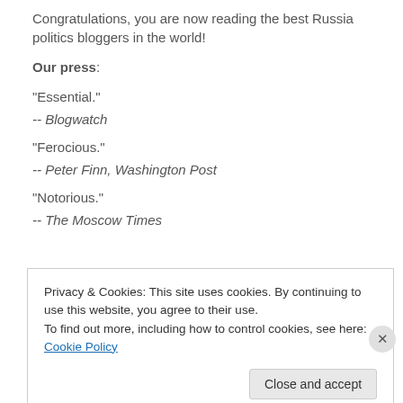Congratulations, you are now reading the best Russia politics bloggers in the world!
Our press:
"Essential."
-- Blogwatch
"Ferocious."
-- Peter Finn, Washington Post
"Notorious."
-- The Moscow Times
Privacy & Cookies: This site uses cookies. By continuing to use this website, you agree to their use. To find out more, including how to control cookies, see here: Cookie Policy
Close and accept